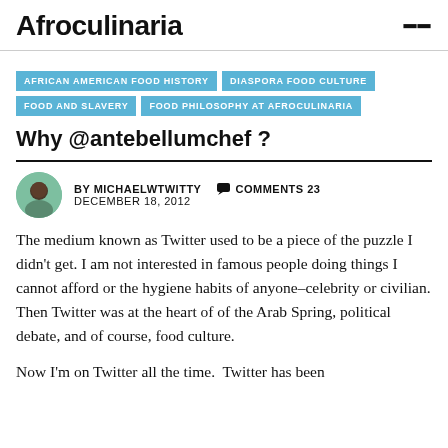Afroculinaria
AFRICAN AMERICAN FOOD HISTORY
DIASPORA FOOD CULTURE
FOOD AND SLAVERY
FOOD PHILOSOPHY AT AFROCULINARIA
Why @antebellumchef ?
BY MICHAELWTWITTY   COMMENTS 23
DECEMBER 18, 2012
The medium known as Twitter used to be a piece of the puzzle I didn't get. I am not interested in famous people doing things I cannot afford or the hygiene habits of anyone–celebrity or civilian. Then Twitter was at the heart of of the Arab Spring, political debate, and of course, food culture.
Now I'm on Twitter all the time.  Twitter has been